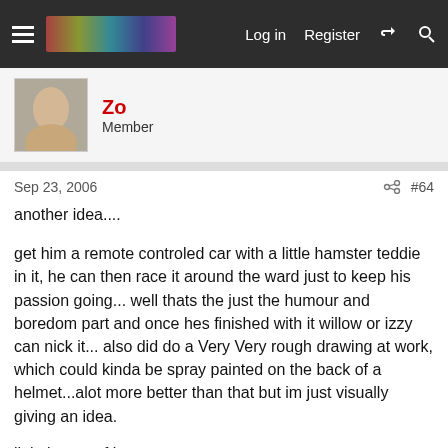Log in  Register
Zo
Member
Sep 23, 2006  #64
another idea....
get him a remote controled car with a little hamster teddie in it, he can then race it around the ward just to keep his passion going... well thats the just the humour and boredom part and once hes finished with it willow or izzy can nick it... also did do a Very Very rough drawing at work, which could kinda be spray painted on the back of a helmet...alot more better than that but im just visually giving an idea.
little image of it...
[Figure (photo): Broken image placeholder labeled th_ha.jpg]